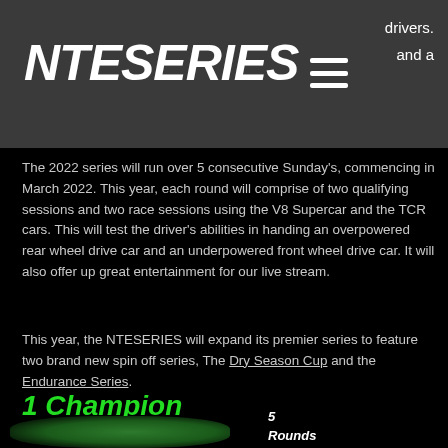NTESERIES   drivers. and a
The 2022 series will run over 5 consecutive Sunday's, commencing in March 2022. This year, each round will comprise of two qualifying sessions and two race sessions using the V8 Supercar and the TCR cars. This will test the driver's abilities in handing an overpowered rear wheel drive car and an underpowered front wheel drive car. It will also offer up great entertainment for our live stream.
This year, the NTESERIES will expand its premier series to feature two brand new spin off series, The Dry Season Cup and the Endurance Series.
1 Champion
[Figure (photo): Green racing car partially visible at bottom of page]
5 Rounds 45 Drivers 5 Different Cars